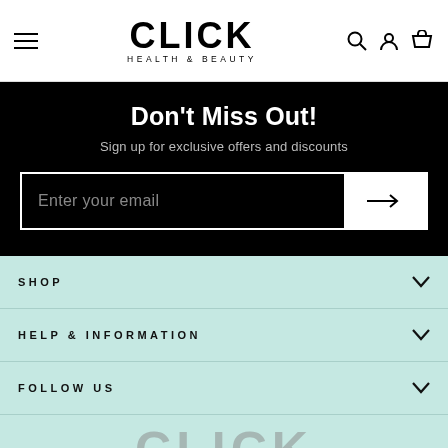CLICK HEALTH & BEAUTY
Don't Miss Out!
Sign up for exclusive offers and discounts
Enter your email
SHOP
HELP & INFORMATION
FOLLOW US
[Figure (logo): CLICK text logo partially visible at bottom]